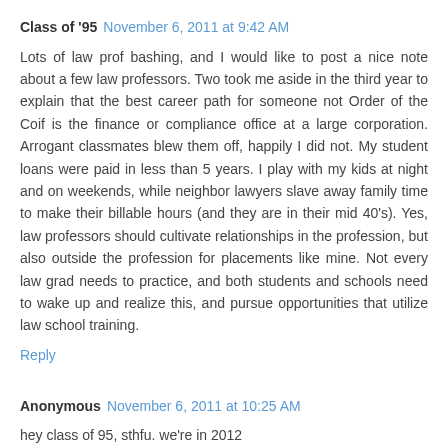Class of '95  November 6, 2011 at 9:42 AM
Lots of law prof bashing, and I would like to post a nice note about a few law professors. Two took me aside in the third year to explain that the best career path for someone not Order of the Coif is the finance or compliance office at a large corporation. Arrogant classmates blew them off, happily I did not. My student loans were paid in less than 5 years. I play with my kids at night and on weekends, while neighbor lawyers slave away family time to make their billable hours (and they are in their mid 40's). Yes, law professors should cultivate relationships in the profession, but also outside the profession for placements like mine. Not every law grad needs to practice, and both students and schools need to wake up and realize this, and pursue opportunities that utilize law school training.
Reply
Anonymous  November 6, 2011 at 10:25 AM
hey class of 95, sthfu. we're in 2012